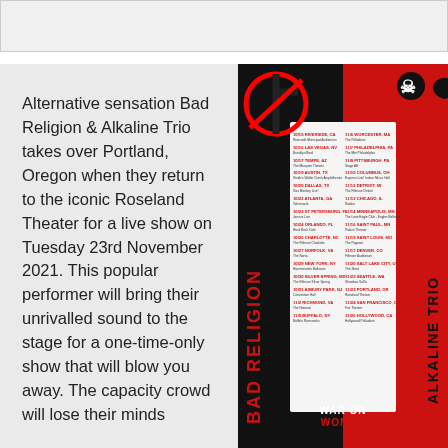[Figure (other): Top navigation/header bar area, light gray background]
Alternative sensation Bad Religion & Alkaline Trio takes over Portland, Oregon when they return to the iconic Roseland Theater for a live show on Tuesday 23rd November 2021. This popular performer will bring their unrivalled sound to the stage for a one-time-only show that will blow you away. The capacity crowd will lose their minds
[Figure (illustration): Bad Religion & Alkaline Trio concert tour poster. Black and red design with no-cross symbol (Bad Religion logo) and skull-heart (Alkaline Trio logo). Tour dates listed down the center on a white column. BAD RELIGION text vertical on left, ALKALINE TRIO text vertical on right. WAR ON WOMEN at bottom. Tour dates include cities across the US.]